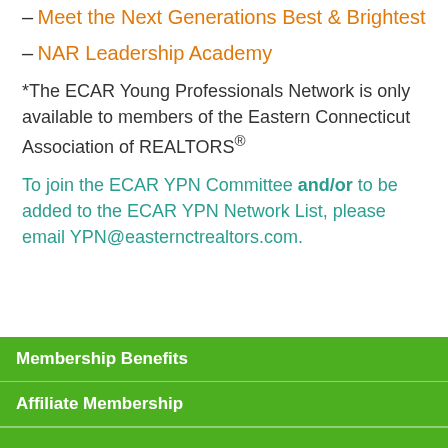– Meet the Next Generations Best & Brightest
– NAR Leadership Academy
*The ECAR Young Professionals Network is only available to members of the Eastern Connecticut Association of REALTORS®
To join the ECAR YPN Committee and/or to be added to the ECAR YPN Network List, please email YPN@easternctrealtors.com.
Membership Benefits
Affiliate Membership